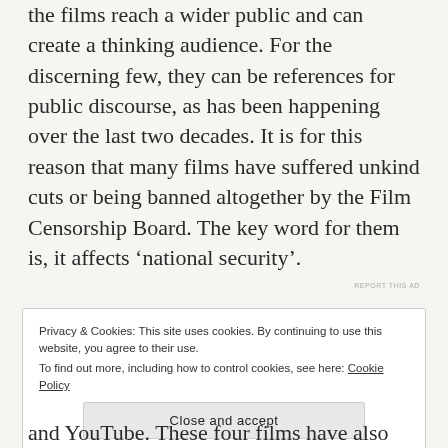the films reach a wider public and can create a thinking audience. For the discerning few, they can be references for public discourse, as has been happening over the last two decades. It is for this reason that many films have suffered unkind cuts or being banned altogether by the Film Censorship Board. The key word for them is, it affects ‘national security’.
REPORT THIS AD
Privacy & Cookies: This site uses cookies. By continuing to use this website, you agree to their use.
To find out more, including how to control cookies, see here: Cookie Policy
Close and accept
and YouTube. These four films have also